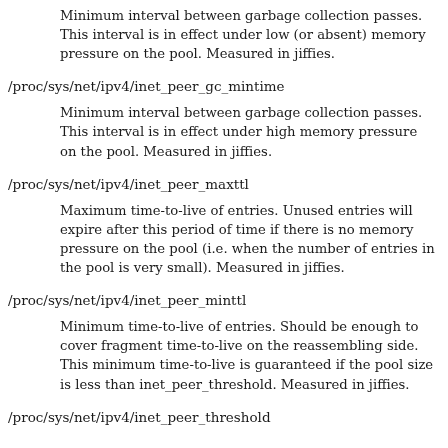Minimum interval between garbage collection passes. This interval is in effect under low (or absent) memory pressure on the pool. Measured in jiffies.
/proc/sys/net/ipv4/inet_peer_gc_mintime
Minimum interval between garbage collection passes. This interval is in effect under high memory pressure on the pool. Measured in jiffies.
/proc/sys/net/ipv4/inet_peer_maxttl
Maximum time-to-live of entries. Unused entries will expire after this period of time if there is no memory pressure on the pool (i.e. when the number of entries in the pool is very small). Measured in jiffies.
/proc/sys/net/ipv4/inet_peer_minttl
Minimum time-to-live of entries. Should be enough to cover fragment time-to-live on the reassembling side. This minimum time-to-live is guaranteed if the pool size is less than inet_peer_threshold. Measured in jiffies.
/proc/sys/net/ipv4/inet_peer_threshold